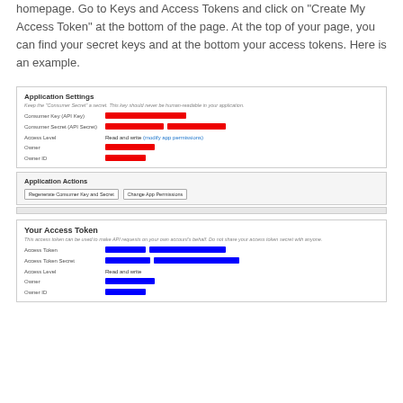homepage. Go to Keys and Access Tokens and click on "Create My Access Token" at the bottom of the page. At the top of your page, you can find your secret keys and at the bottom your access tokens. Here is an example.
[Figure (screenshot): Screenshot of a Twitter Application Settings page showing Consumer Key (API Key) and Consumer Secret (API Secret) redacted with red bars, Access Level showing 'Read and write (modify app permissions)', Owner and Owner ID redacted. Below is an Application Actions section with buttons 'Regenerate Consumer Key and Secret' and 'Change App Permissions'. A scrollbar strip separates it from the 'Your Access Token' section which shows Access Token and Access Token Secret redacted with blue bars, Access Level 'Read and write', Owner and Owner ID redacted with blue bars.]